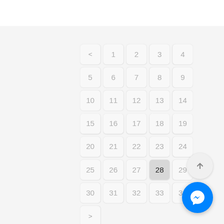[Figure (screenshot): A pagination/grid UI showing numbered cells in a 5-column grid layout. Numbers 1-34 are displayed in rounded square cards. Cell 28 is highlighted/selected with a darker gray background. Navigation arrows (< and >) appear at start and end. A blue Facebook Messenger floating button and a scroll-up button appear in the bottom right corner.]